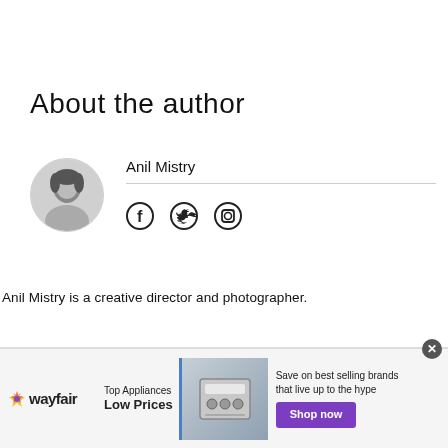About the author
Anil Mistry
[Figure (photo): Circular avatar photo of Anil Mistry, a black and white headshot]
[Figure (illustration): Social media icons: Facebook, Twitter, Instagram]
Anil Mistry is a creative director and photographer.
[Figure (illustration): Wayfair advertisement banner: Top Appliances Low Prices, Save on best selling brands that live up to the hype, Shop now button]